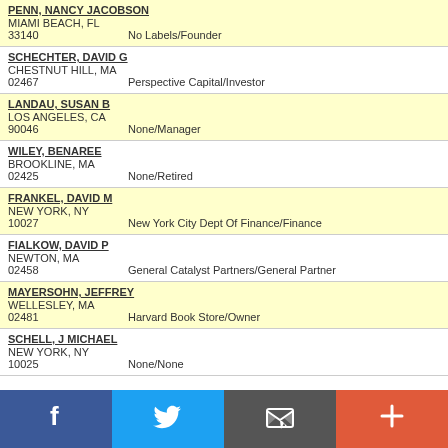PENN, NANCY JACOBSON
MIAMI BEACH, FL
33140    No Labels/Founder
SCHECHTER, DAVID G
CHESTNUT HILL, MA
02467    Perspective Capital/Investor
LANDAU, SUSAN B
LOS ANGELES, CA
90046    None/Manager
WILEY, BENAREE
BROOKLINE, MA
02425    None/Retired
FRANKEL, DAVID M
NEW YORK, NY
10027    New York City Dept Of Finance/Finance
FIALKOW, DAVID P
NEWTON, MA
02458    General Catalyst Partners/General Partner
MAYERSOHN, JEFFREY
WELLESLEY, MA
02481    Harvard Book Store/Owner
SCHELL, J MICHAEL
NEW YORK, NY
10025    None/None
[Figure (infographic): Social media sharing buttons: Facebook (blue), Twitter (light blue), Email (dark gray), Add/Plus (orange-red)]